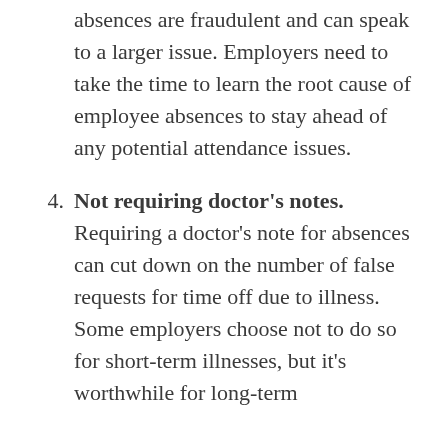absences are fraudulent and can speak to a larger issue. Employers need to take the time to learn the root cause of employee absences to stay ahead of any potential attendance issues.
4. Not requiring doctor's notes. Requiring a doctor's note for absences can cut down on the number of false requests for time off due to illness. Some employers choose not to do so for short-term illnesses, but it's worthwhile for long-term